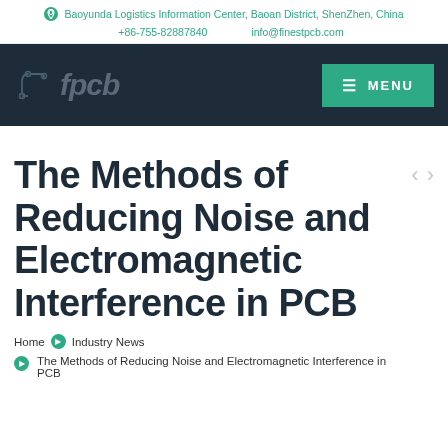Baoyunda Logistics Information Center, Baoan District, ShenZhen, China | +86-755-82887840 | info@finestpcb.com
[Figure (logo): fpcb logo with circuit board icon and MENU button on dark navy background]
The Methods of Reducing Noise and Electromagnetic Interference in PCB
Home > Industry News
The Methods of Reducing Noise and Electromagnetic Interference in PCB